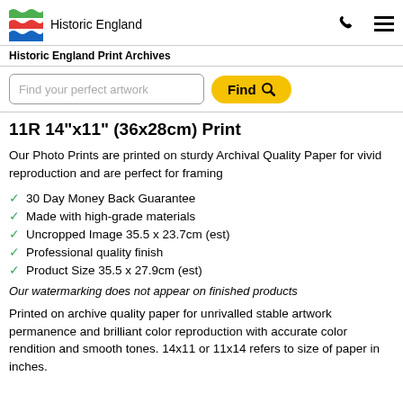Historic England | Historic England Print Archives
Find your perfect artwork
11R 14"x11" (36x28cm) Print
Our Photo Prints are printed on sturdy Archival Quality Paper for vivid reproduction and are perfect for framing
30 Day Money Back Guarantee
Made with high-grade materials
Uncropped Image 35.5 x 23.7cm (est)
Professional quality finish
Product Size 35.5 x 27.9cm (est)
Our watermarking does not appear on finished products
Printed on archive quality paper for unrivalled stable artwork permanence and brilliant color reproduction with accurate color rendition and smooth tones. 14x11 or 11x14 refers to size of paper in inches.